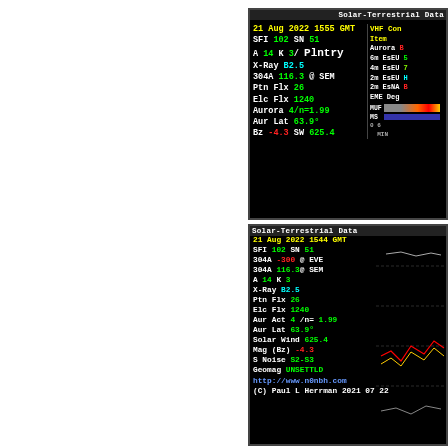[Figure (screenshot): Solar-Terrestrial Data display 1: Date 21 Aug 2022 1555 GMT, SFI 102 SN 51, A 14 K 3/Plntry, X-Ray B2.5, 304A 116.3 @ SEM, Ptn Flx 26, Elc Flx 1240, Aurora 4/n=1.99, Aur Lat 63.9°, Bz -4.3 SW 625.4. Right panel: VHF Conditions table with Aurora B, 6m EsEU 5, 4m EsEU 7, 2m EsEU H, 2m EsNA B, EME Deg, MUF and MS bar indicators.]
[Figure (screenshot): Solar-Terrestrial Data display 2: Date 21 Aug 2022 1544 GMT, SFI 102 SN 51, 304A -300 @ EVE, 304A 116.3 @ SEM, A 14 K 3, X-Ray B2.5, Ptn Flx 26, Elc Flx 1240, Aur Act 4/n=1.99, Aur Lat 63.9°, Solar Wind 625.4, Mag (Bz) -4.3, S Noise S2-S3, Geomag UNSETTLD. URL: http://www.n0nbh.com, (C) Paul L Herrman 2021 07 22. Right side shows time-series chart lines.]